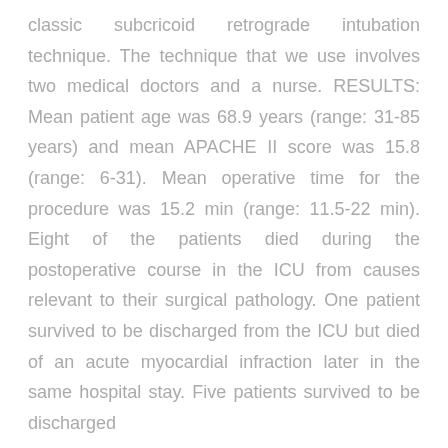classic subcricoid retrograde intubation technique. The technique that we use involves two medical doctors and a nurse. RESULTS: Mean patient age was 68.9 years (range: 31-85 years) and mean APACHE II score was 15.8 (range: 6-31). Mean operative time for the procedure was 15.2 min (range: 11.5-22 min). Eight of the patients died during the postoperative course in the ICU from causes relevant to their surgical pathology. One patient survived to be discharged from the ICU but died of an acute myocardial infraction later in the same hospital stay. Five patients survived to be discharged